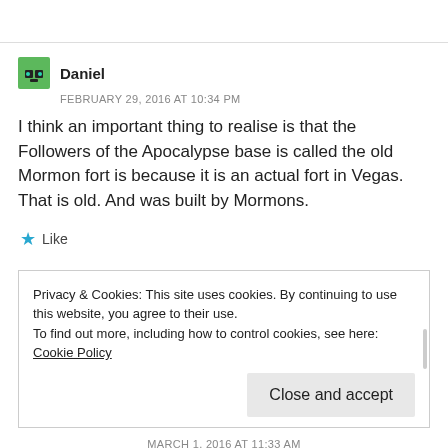Daniel
FEBRUARY 29, 2016 AT 10:34 PM
I think an important thing to realise is that the Followers of the Apocalypse base is called the old Mormon fort is because it is an actual fort in Vegas. That is old. And was built by Mormons.
Like
Privacy & Cookies: This site uses cookies. By continuing to use this website, you agree to their use.
To find out more, including how to control cookies, see here: Cookie Policy
Close and accept
MARCH 1, 2016 AT 11:33 AM